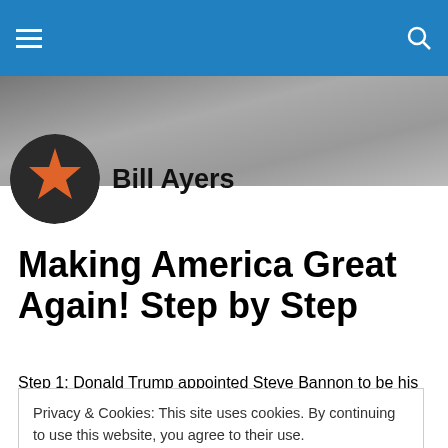[Figure (illustration): Website header banner with grey gradient background]
[Figure (logo): Bill Ayers blog profile icon — circular icon with orange star on dark background]
Bill Ayers
Making America Great Again! Step by Step
Step 1: Donald Trump appointed Steve Bannon to be his
Privacy & Cookies: This site uses cookies. By continuing to use this website, you agree to their use.
To find out more, including how to control cookies, see here: Cookie Policy
homophobic, antifeminist, Islamaphobic, anti-